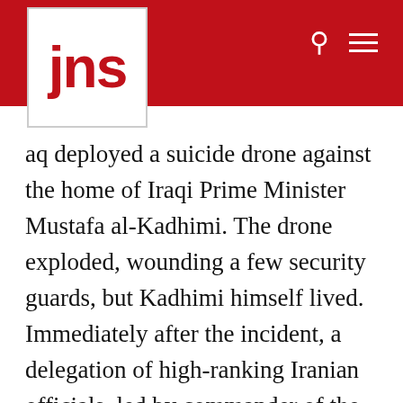[Figure (logo): JNS logo - red text on white background inside white box on red header bar]
aq deployed a suicide drone against the home of Iraqi Prime Minister Mustafa al-Kadhimi. The drone exploded, wounding a few security guards, but Kadhimi himself lived. Immediately after the incident, a delegation of high-ranking Iranian officials, led by commander of the Islamic Revolutionary Guards' Quds Force, Maj. Gen. Esmail Ghaani, landed in Baghdad. They wanted to calm things down, but also to investigate the incident. The militia that dispatched the drone operates under Iran's auspices and is funded by Tehran, but in this case had acted on its own, with no